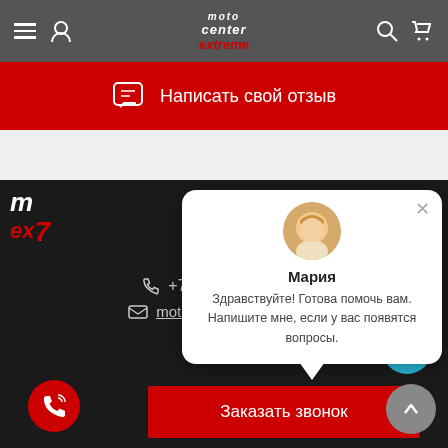Moto Center Extreme — navigation header
Написать свой отзыв
[Figure (screenshot): Chat popup with assistant Maria: 'Здравствуйте! Готова помочь вам. Напишите мне, если у вас появятся вопросы.']
+7 (985) 472-40-98
motoxcenter@yandex.ru
Заказать звонок